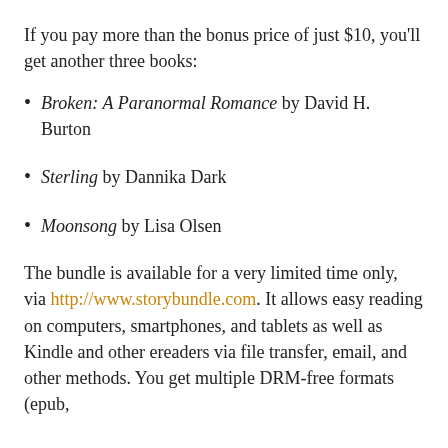If you pay more than the bonus price of just $10, you'll get another three books:
Broken: A Paranormal Romance by David H. Burton
Sterling by Dannika Dark
Moonsong by Lisa Olsen
The bundle is available for a very limited time only, via http://www.storybundle.com. It allows easy reading on computers, smartphones, and tablets as well as Kindle and other ereaders via file transfer, email, and other methods. You get multiple DRM-free formats (epub,